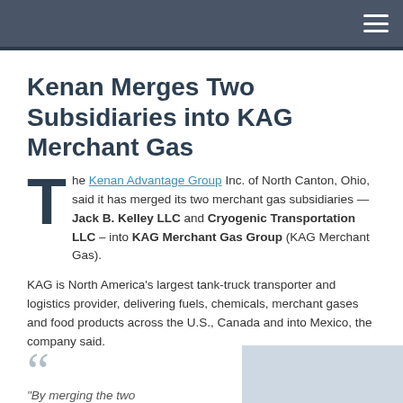Kenan Merges Two Subsidiaries into KAG Merchant Gas
The Kenan Advantage Group Inc. of North Canton, Ohio, said it has merged its two merchant gas subsidiaries — Jack B. Kelley LLC and Cryogenic Transportation LLC – into KAG Merchant Gas Group (KAG Merchant Gas).
KAG is North America's largest tank-truck transporter and logistics provider, delivering fuels, chemicals, merchant gases and food products across the U.S., Canada and into Mexico, the company said.
“By merging the two